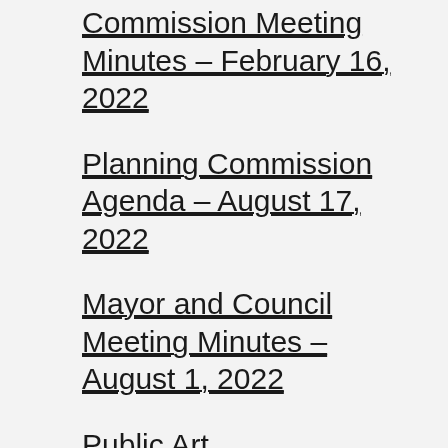Commission Meeting Minutes – February 16, 2022
Planning Commission Agenda – August 17, 2022
Mayor and Council Meeting Minutes – August 1, 2022
Public Art